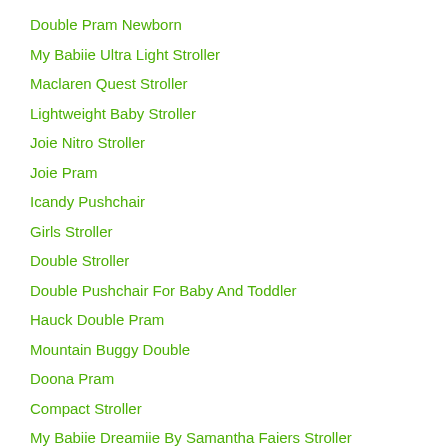Double Pram Newborn
My Babiie Ultra Light Stroller
Maclaren Quest Stroller
Lightweight Baby Stroller
Joie Nitro Stroller
Joie Pram
Icandy Pushchair
Girls Stroller
Double Stroller
Double Pushchair For Baby And Toddler
Hauck Double Pram
Mountain Buggy Double
Doona Pram
Compact Stroller
My Babiie Dreamiie By Samantha Faiers Stroller